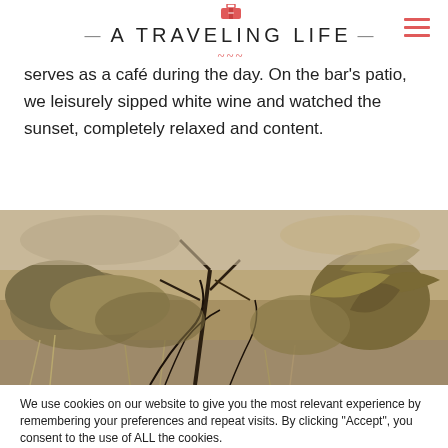A Traveling Life
serves as a café during the day. On the bar's patio, we leisurely sipped white wine and watched the sunset, completely relaxed and content.
[Figure (photo): Outdoor nature photo showing dry brush, palm fronds, and tangled dark branches in an arid landscape]
We use cookies on our website to give you the most relevant experience by remembering your preferences and repeat visits. By clicking "Accept", you consent to the use of ALL the cookies.
Do not sell my personal information.
Read More  Accept